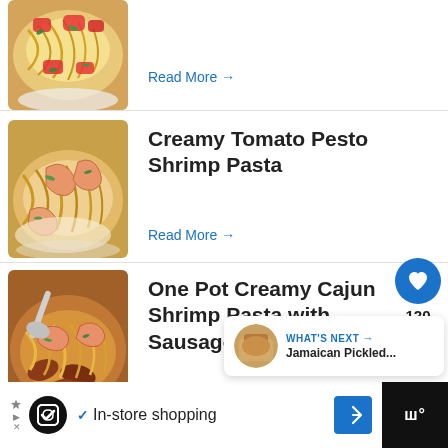[Figure (photo): Partial top of a pasta dish with tomato sauce and herbs - cropped]
Read More →
[Figure (photo): Creamy shrimp pasta with large shrimp in a bowl]
Creamy Tomato Pesto Shrimp Pasta
Read More →
[Figure (photo): One Pot Creamy Cajun Shrimp Pasta with Sausage in a pan]
One Pot Creamy Cajun Shrimp Pasta with Sausage
Read More →
WHAT'S NEXT → Jamaican Pickled...
✓ In-store shopping